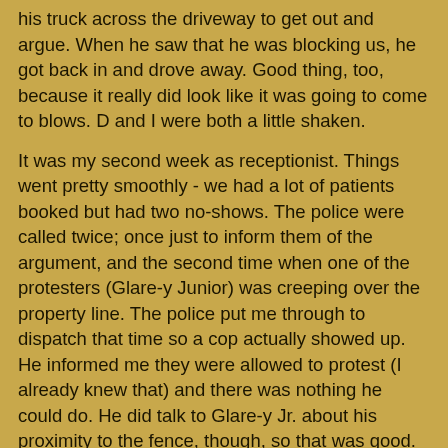his truck across the driveway to get out and argue. When he saw that he was blocking us, he got back in and drove away. Good thing, too, because it really did look like it was going to come to blows. D and I were both a little shaken.
It was my second week as receptionist. Things went pretty smoothly - we had a lot of patients booked but had two no-shows. The police were called twice; once just to inform them of the argument, and the second time when one of the protesters (Glare-y Junior) was creeping over the property line. The police put me through to dispatch that time so a cop actually showed up. He informed me they were allowed to protest (I already knew that) and there was nothing he could do. He did talk to Glare-y Jr. about his proximity to the fence, though, so that was good.
I bought a tarp over the weekend in case Mrs. Idiot decided to bring her ugly sign out, but she didn't. The escorts used the tarp to block Glare-y Jr.'s glare instead. One of the escorts found a syringe out on the sidewalk, so we had to dispose of that (JS did it with a rubber glove - there is a box for them in the clinic. You know, because all of us baby-killers are heroin addicts too).